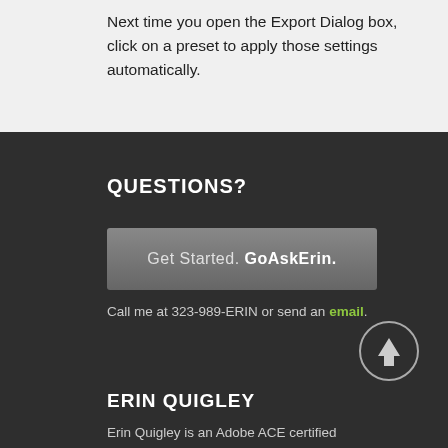Next time you open the Export Dialog box, click on a preset to apply those settings automatically.
QUESTIONS?
Get Started. GoAskErin.
Call me at 323-989-ERIN or send an email.
ERIN QUIGLEY
Erin Quigley is an Adobe ACE certified